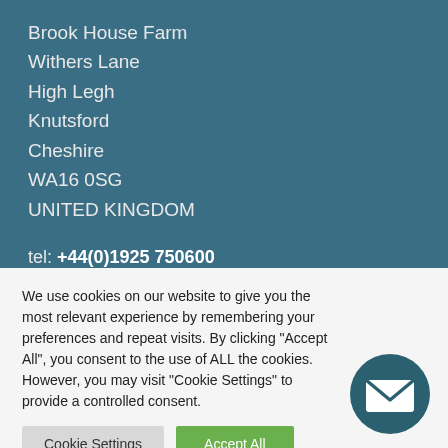Brook House Farm
Withers Lane
High Legh
Knutsford
Cheshire
WA16 0SG
UNITED KINGDOM
tel: +44(0)1925 750600
email: info@cortech.co.uk
We use cookies on our website to give you the most relevant experience by remembering your preferences and repeat visits. By clicking "Accept All", you consent to the use of ALL the cookies. However, you may visit "Cookie Settings" to provide a controlled consent.
Cookie Settings | Accept All